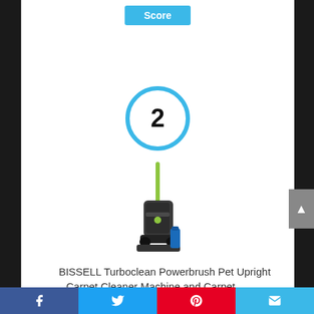[Figure (other): Blue 'Score' button badge at top of review section]
[Figure (other): Rank badge showing number 2 inside a blue circle]
[Figure (photo): Product photo of BISSELL Turboclean Powerbrush Pet Upright Carpet Cleaner Machine with green/yellow handle and blue bottle]
BISSELL Turboclean Powerbrush Pet Upright Carpet Cleaner Machine and Carpet
[Figure (other): Social media share bar with Facebook, Twitter, Pinterest, and email icons]